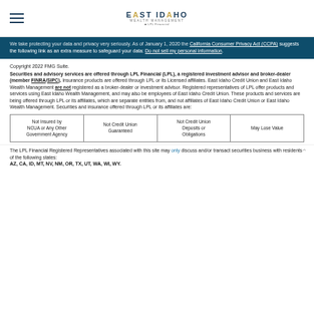East Idaho Wealth Management | LPL Financial
California Consumer Privacy Act (CCPA) suggests the following link as an extra measure to safeguard your data: Do not sell my personal information.
Copyright 2022 FMG Suite.
Securities and advisory services are offered through LPL Financial (LPL), a registered investment advisor and broker-dealer (member FINRA/SIPC). Insurance products are offered through LPL or its Licensed affiliates. East Idaho Credit Union and East Idaho Wealth Management are not registered as a broker-dealer or investment advisor. Registered representatives of LPL offer products and services using East Idaho Wealth Management, and may also be employees of East Idaho Credit Union. These products and services are being offered through LPL or its affiliates, which are separate entities from, and not affiliates of East Idaho Credit Union or East Idaho Wealth Management. Securities and insurance offered through LPL or its affiliates are:
| Not Insured by NCUA or Any Other Government Agency | Not Credit Union Guaranteed | Not Credit Union Deposits or Obligations | May Lose Value |
| --- | --- | --- | --- |
The LPL Financial Registered Representatives associated with this site may only discuss and/or transact securities business with residents of the following states: AZ, CA, ID, MT, NV, NM, OR, TX, UT, WA, WI, WY.